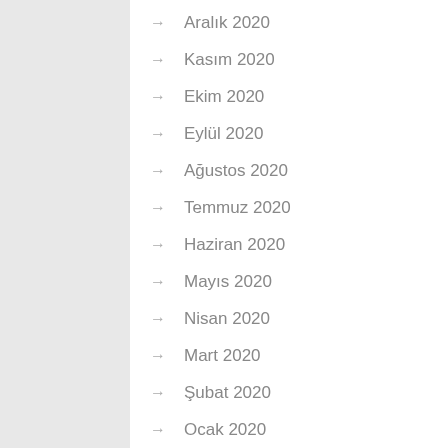Aralık 2020
Kasım 2020
Ekim 2020
Eylül 2020
Ağustos 2020
Temmuz 2020
Haziran 2020
Mayıs 2020
Nisan 2020
Mart 2020
Şubat 2020
Ocak 2020
Nisan 2019
Mart 2019
Şubat 2019
Ocak 2019
Aralık 2018